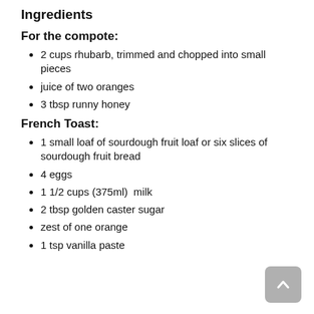Ingredients
For the compote:
2 cups rhubarb, trimmed and chopped into small pieces
juice of two oranges
3 tbsp runny honey
French Toast:
1 small loaf of sourdough fruit loaf or six slices of sourdough fruit bread
4 eggs
1 1/2 cups (375ml)  milk
2 tbsp golden caster sugar
zest of one orange
1 tsp vanilla paste